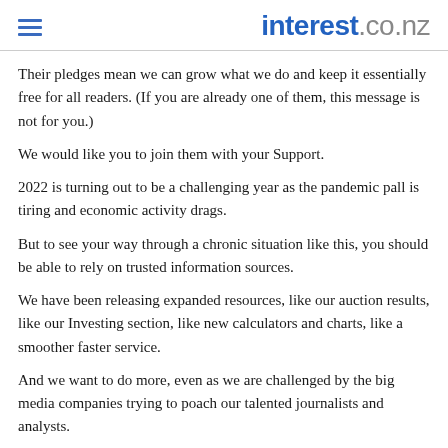interest.co.nz
Their pledges mean we can grow what we do and keep it essentially free for all readers. (If you are already one of them, this message is not for you.)
We would like you to join them with your Support.
2022 is turning out to be a challenging year as the pandemic pall is tiring and economic activity drags.
But to see your way through a chronic situation like this, you should be able to rely on trusted information sources.
We have been releasing expanded resources, like our auction results, like our Investing section, like new calculators and charts, like a smoother faster service.
And we want to do more, even as we are challenged by the big media companies trying to poach our talented journalists and analysts.